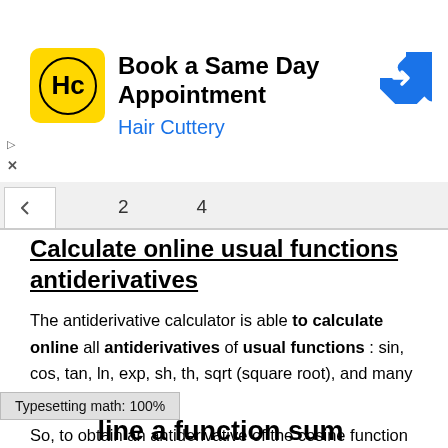[Figure (infographic): Hair Cuttery advertisement banner: Book a Same Day Appointment, Hair Cuttery, with logo and arrow icon]
Calculate online usual functions antiderivatives
The antiderivative calculator is able to calculate online all antiderivatives of usual functions : sin, cos, tan, ln, exp, sh, th, sqrt (square root), and many more ...
So, to obtain an antiderivative of the cosine function with respect to the variable x, type, antiderivative(cos(x);x), result sin(x) is returned after calculation..
Typesetting math: 100%